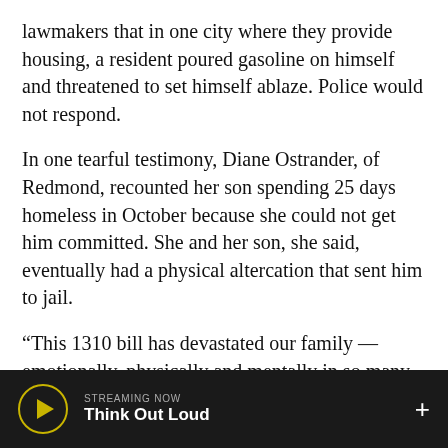lawmakers that in one city where they provide housing, a resident poured gasoline on himself and threatened to set himself ablaze. Police would not respond.
In one tearful testimony, Diane Ostrander, of Redmond, recounted her son spending 25 days homeless in October because she could not get him committed. She and her son, she said, eventually had a physical altercation that sent him to jail.
“This 1310 bill has devastated our family — emotionally, physically and mentally in so many ways,” Ostrander said. “There needs to be 100% clarification in the use of force for mental health crisis situations so the police can provide any help
STREAMING NOW
Think Out Loud